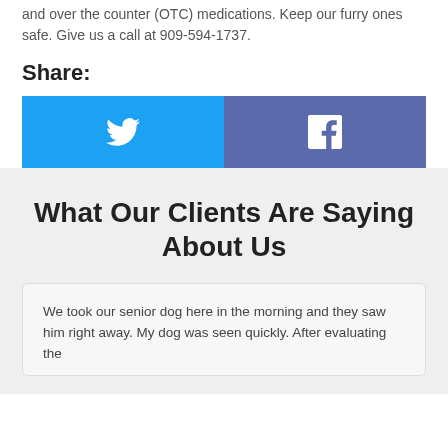and over the counter (OTC) medications. Keep our furry ones safe. Give us a call at 909-594-1737.
Share:
[Figure (other): Twitter share button (blue) and Facebook share button (dark blue/purple) side by side]
What Our Clients Are Saying About Us
We took our senior dog here in the morning and they saw him right away. My dog was seen quickly. After evaluating the